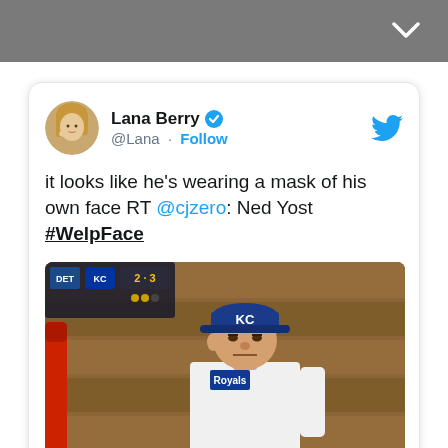[Figure (screenshot): Tweet by Lana Berry (@Lana) with verified badge and Follow button. Tweet text: 'it looks like he's wearing a mask of his own face RT @cjzero: Ned Yost #WelpFace'. Below the text is an embedded image of a Kansas City Royals baseball player/manager in a blue KC cap and white uniform, sitting in a dugout with a wooden plank background.]